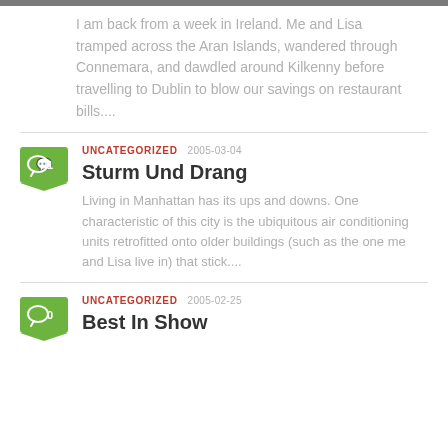I am back from a week in Ireland. Me and Lisa tramped across the Aran Islands, wandered through Connemara, and dawdled around Kilkenny before travelling to Dublin to blow our savings on restaurant bills....
UNCATEGORIZED 2005-03-04
Sturm Und Drang
Living in Manhattan has its ups and downs. One characteristic of this city is the ubiquitous air conditioning units retrofitted onto older buildings (such as the one me and Lisa live in) that stick....
UNCATEGORIZED 2005-02-25
Best In Show